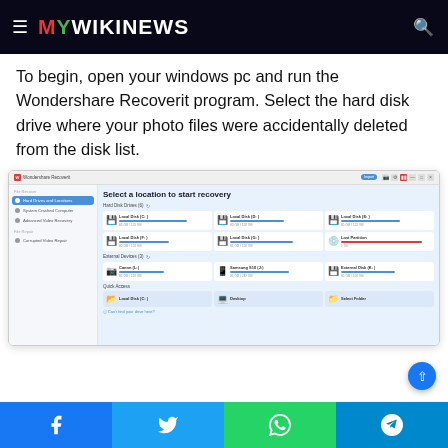MYWIKINEWS
To begin, open your windows pc and run the Wondershare Recoverit program. Select the hard disk drive where your photo files were accidentally deleted from the disk list.
[Figure (screenshot): Screenshot of Wondershare Recoverit application showing 'Select a location to start recovery' screen with Hard Disk Drives section listing Local Disk C, D, E, F, G and Lost Partition, External Devices section with Canon, Samsung S10, External Disk K, and Quick Access section with Local Disk C, Desktop, Select Folder.]
Facebook Twitter WhatsApp Telegram share buttons